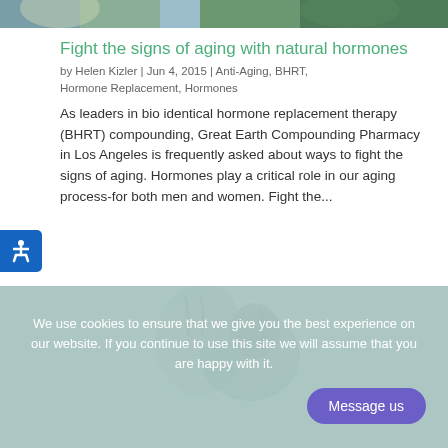[Figure (photo): Top banner image of a person with green plants, cropped]
Fight the signs of aging with natural hormones
by Helen Kizler | Jun 4, 2015 | Anti-Aging, BHRT, Hormone Replacement, Hormones
As leaders in bio identical hormone replacement therapy (BHRT) compounding, Great Earth Compounding Pharmacy in Los Angeles is frequently asked about ways to fight the signs of aging. Hormones play a critical role in our aging process-for both men and women. Fight the...
[Figure (photo): Couple lying down together, man kissing woman's forehead]
We use cookies to ensure that we give you the best experience on our website. If you continue to use this site we will assume that you are happy with it.